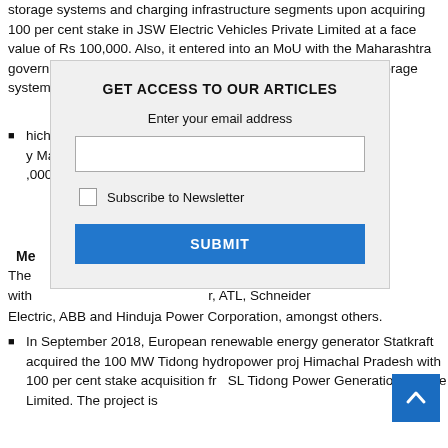storage systems and charging infrastructure segments upon acquiring 100 per cent stake in JSW Electric Vehicles Private Limited at a face value of Rs 100,000. Also, it entered into an MoU with the Maharashtra government to set up EV manufacturing facilities and energy storage systems in the state.
hich 350 units y Mahindra. In the ,000 EVs. final deadline of t met. A new ger and battery and Technology.
Me
The ion (M&A) deals, with r, ATL, Schneider Electric, ABB and Hinduja Power Corporation, amongst others.
In September 2018, European renewable energy generator Statkraft acquired the 100 MW Tidong hydropower proj Himachal Pradesh with 100 per cent stake acquisition fr SL Tidong Power Generation Private Limited. The project is
[Figure (other): Modal dialog overlay: GET ACCESS TO OUR ARTICLES. Enter your email address. Email input field. Subscribe to Newsletter checkbox. SUBMIT button.]